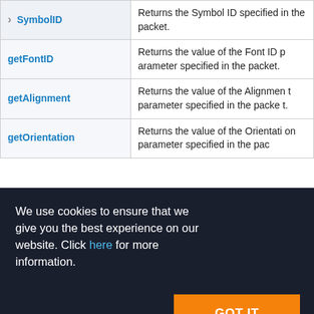| Method | Description |
| --- | --- |
| SymbolID | Returns the Symbol ID specified in the packet. |
| getFontID | Returns the value of the Font ID parameter specified in the packet. |
| getAlignment | Returns the value of the Alignment parameter specified in the packet. |
| getOrientation | Returns the value of the Orientation parameter specified in the pac |
We use cookies to ensure that we give you the best experience on our website. Click here for more information.